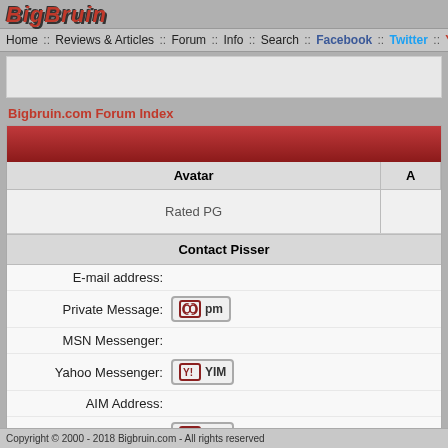[Figure (logo): BigBruin logo in red bold italic text]
Home :: Reviews & Articles :: Forum :: Info :: Search :: Facebook :: Twitter :: Youtube
Bigbruin.com Forum Index
| Avatar | A |
| --- | --- |
| Rated PG |  |
Contact Pisser
E-mail address:
Private Message: [pm]
MSN Messenger:
Yahoo Messenger: [YIM]
AIM Address:
ICQ Number: [ICQ]
Contact Us :: On Facebook :: On Twitter ::
Copyright © 2000 - 2018 Bigbruin.com - All rights reserved